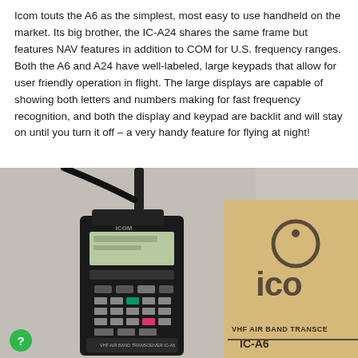Icom touts the A6 as the simplest, most easy to use handheld on the market. Its big brother, the IC-A24 shares the same frame but features NAV features in addition to COM for U.S. frequency ranges. Both the A6 and A24 have well-labeled, large keypads that allow for user friendly operation in flight. The large displays are capable of showing both letters and numbers making for fast frequency recognition, and both the display and keypad are backlit and will stay on until you turn it off – a very handy feature for flying at night!
[Figure (photo): Photo of an Icom IC-A6 VHF Air Band Transceiver handheld radio resting on a cardboard box that shows the Icom logo and text 'VHF AIR BAND TRANSCEIVER IC-A6'. The radio is black with a keypad, display screen, and antenna.]